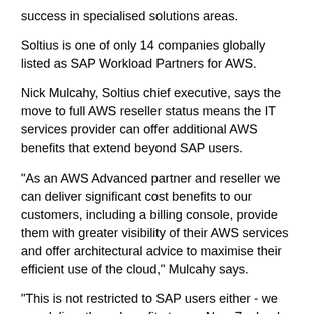success in specialised solutions areas.
Soltius is one of only 14 companies globally listed as SAP Workload Partners for AWS.
Nick Mulcahy, Soltius chief executive, says the move to full AWS reseller status means the IT services provider can offer additional AWS benefits that extend beyond SAP users.
“As an AWS Advanced partner and reseller we can deliver significant cost benefits to our customers, including a billing console, provide them with greater visibility of their AWS services and offer architectural advice to maximise their efficient use of the cloud,” Mulcahy says.
“This is not restricted to SAP users either - we can deliver these benefits to any New Zealand organisation that is looking to better leverage the AWS cloud to its full advantage.”